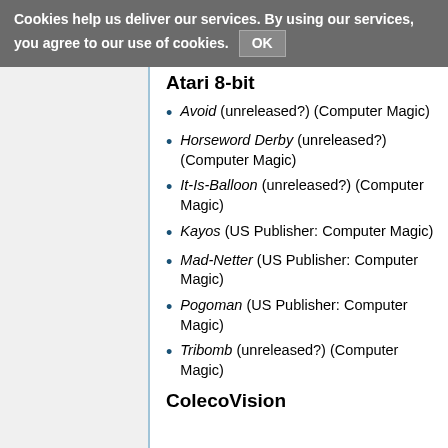Cookies help us deliver our services. By using our services, you agree to our use of cookies. OK
Atari 8-bit
Avoid (unreleased?) (Computer Magic)
Horseword Derby (unreleased?) (Computer Magic)
It-Is-Balloon (unreleased?) (Computer Magic)
Kayos (US Publisher: Computer Magic)
Mad-Netter (US Publisher: Computer Magic)
Pogoman (US Publisher: Computer Magic)
Tribomb (unreleased?) (Computer Magic)
ColecoVision